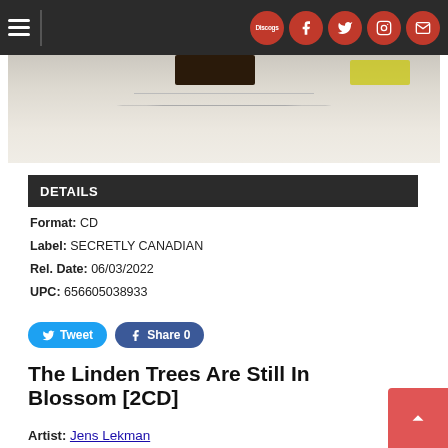Navigation bar with hamburger menu and social icons (Discogs, Facebook, Twitter, Instagram, Email)
[Figure (photo): Partial album cover image showing a light background with dark element at top center and thin lines]
DETAILS
Format: CD
Label: SECRETLY CANADIAN
Rel. Date: 06/03/2022
UPC: 656605038933
Tweet | Share 0
The Linden Trees Are Still In Blossom [2CD]
Artist: Jens Lekman